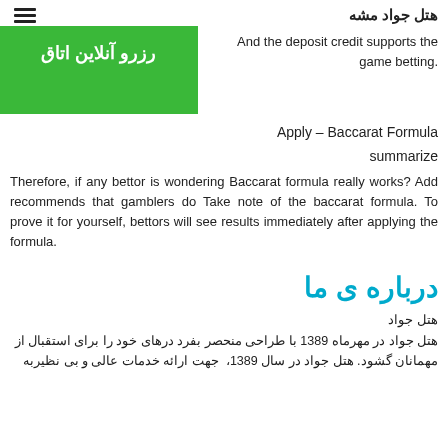هتل جواد مشه
رزرو آنلاین اتاق
And the deposit credit supports the game betting.
Apply – Baccarat Formula
summarize
Therefore, if any bettor is wondering Baccarat formula really works? Add recommends that gamblers do Take note of the baccarat formula. To prove it for yourself, bettors will see results immediately after applying the formula.
درباره ی ما
هتل جواد
هتل جواد در مهرماه 1389 با طراحی منحصر بفرد درهای خود را برای استقبال از مهمانان گشود. هتل جواد در سال 1389،  جهت ارائه خدمات عالی و بی نظیربه